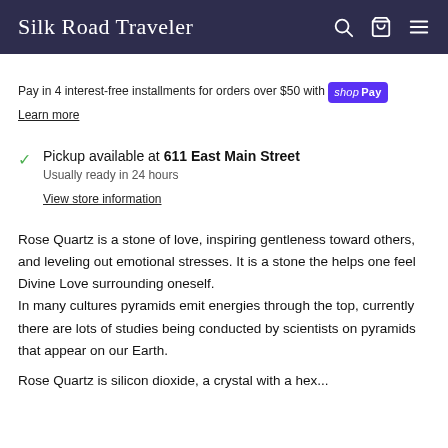Silk Road Traveler
Pay in 4 interest-free installments for orders over $50 with shop Pay
Learn more
Pickup available at 611 East Main Street
Usually ready in 24 hours
View store information
Rose Quartz is a stone of love, inspiring gentleness toward others, and leveling out emotional stresses. It is a stone the helps one feel Divine Love surrounding oneself.
In many cultures pyramids emit energies through the top, currently there are lots of studies being conducted by scientists on pyramids that appear on our Earth.
Rose Quartz is silicon dioxide, a crystal with a hex...